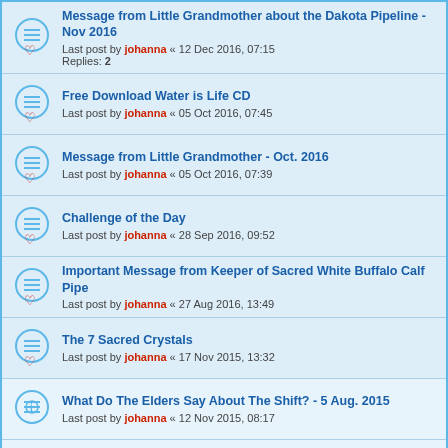Message from Little Grandmother about the Dakota Pipeline - Nov 2016
Last post by johanna « 12 Dec 2016, 07:15
Replies: 2
Free Download Water is Life CD
Last post by johanna « 05 Oct 2016, 07:45
Message from Little Grandmother - Oct. 2016
Last post by johanna « 05 Oct 2016, 07:39
Challenge of the Day
Last post by johanna « 28 Sep 2016, 09:52
Important Message from Keeper of Sacred White Buffalo Calf Pipe
Last post by johanna « 27 Aug 2016, 13:49
The 7 Sacred Crystals
Last post by johanna « 17 Nov 2015, 13:32
What Do The Elders Say About The Shift? - 5 Aug. 2015
Last post by johanna « 12 Nov 2015, 08:17
Interview Earth Matters - 26 March 2013
Last post by johanna « 12 Nov 2015, 07:36
New Topic  |sort| 23 topics  1  2  >